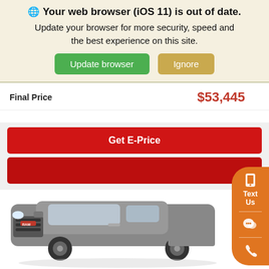🌐 Your web browser (iOS 11) is out of date. Update your browser for more security, speed and the best experience on this site.
Update browser | Ignore
Final Price $53,445
Get E-Price
[Figure (screenshot): Gray RAM pickup truck front view on white background]
Text Us